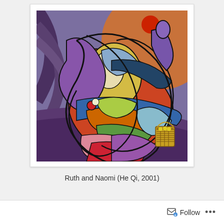[Figure (illustration): Abstract cubist painting of Ruth and Naomi embracing, featuring bold curved shapes in vivid colors including orange, red, purple, green, yellow, and blue. A basket with items appears in the lower right. A red sun or moon is visible in the upper right against an orange textured background.]
Ruth and Naomi (He Qi, 2001)
Follow ...